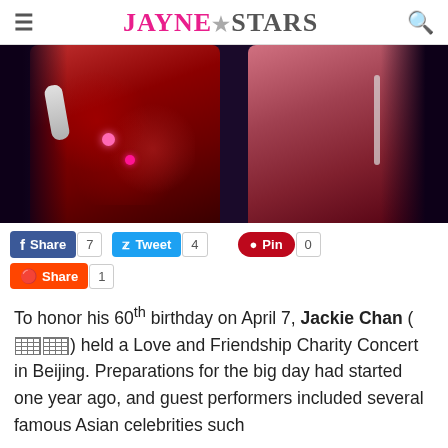JAYNE STARS
[Figure (photo): Two performers on stage, one in a red floral outfit holding a microphone, another in a pink/rose outfit, against a dark background]
Share 7  Tweet 4  Pin 0  Share 1
To honor his 60th birthday on April 7, Jackie Chan (🀆🀆) held a Love and Friendship Charity Concert in Beijing. Preparations for the big day had started one year ago, and guest performers included several famous Asian celebrities such